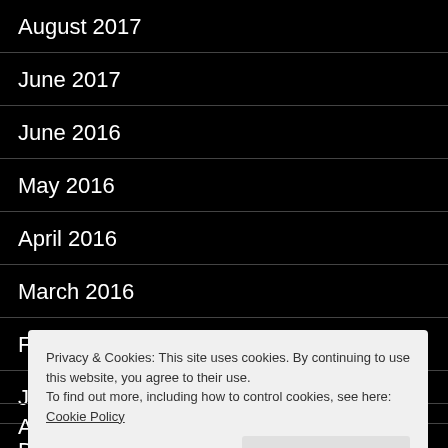August 2017
June 2017
June 2016
May 2016
April 2016
March 2016
February 2016
January 2016
December 2015
Privacy & Cookies: This site uses cookies. By continuing to use this website, you agree to their use.
To find out more, including how to control cookies, see here: Cookie Policy
August 2015